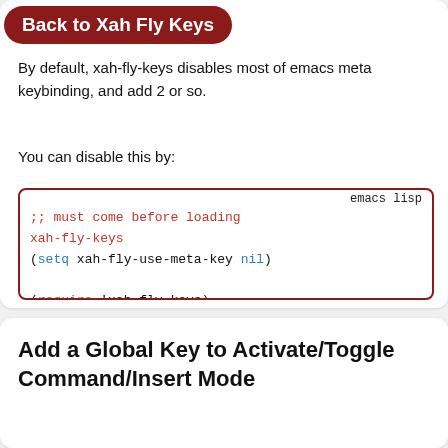Back to Xah Fly Keys
By default, xah-fly-keys disables most of emacs meta keybinding, and add 2 or so.
You can disable this by:
[Figure (screenshot): Emacs lisp code block: ;; must come before loading xah-fly-keys
(setq xah-fly-use-meta-key nil)
(require 'xah-fly-keys)]
Add a Global Key to Activate/Toggle Command/Insert Mode
You can add global keys to activate command mode or insert mode, or add a key to toggle.